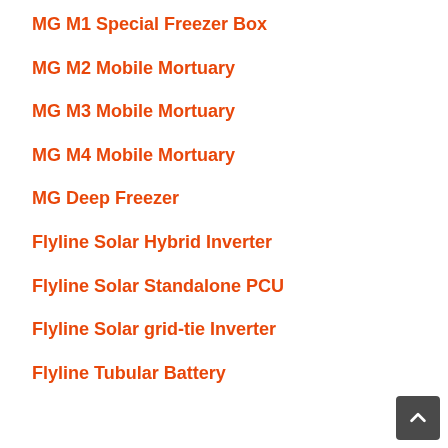MG M1 Special Freezer Box
MG M2 Mobile Mortuary
MG M3 Mobile Mortuary
MG M4 Mobile Mortuary
MG Deep Freezer
Flyline Solar Hybrid Inverter
Flyline Solar Standalone PCU
Flyline Solar grid-tie Inverter
Flyline Tubular Battery